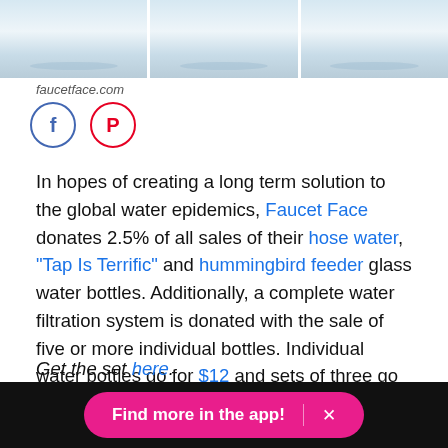[Figure (photo): Three glass water bottles with colorful designs on a white background, showing the bottom portions of the glasses.]
faucetface.com
[Figure (infographic): Facebook and Pinterest social media share icons — a blue circle with Facebook 'f' logo and a red circle with Pinterest 'P' logo.]
In hopes of creating a long term solution to the global water epidemics, Faucet Face donates 2.5% of all sales of their hose water, "Tap Is Terrific" and hummingbird feeder glass water bottles. Additionally, a complete water filtration system is donated with the sale of five or more individual bottles. Individual water bottles go for $12 and sets of three go for $33.
Get the set here.
Find more in the app!